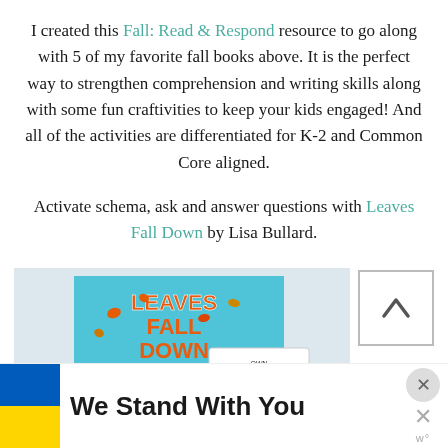I created this Fall: Read & Respond resource to go along with 5 of my favorite fall books above. It is the perfect way to strengthen comprehension and writing skills along with some fun craftivities to keep your kids engaged! And all of the activities are differentiated for K-2 and Common Core aligned.
Activate schema, ask and answer questions with Leaves Fall Down by Lisa Bullard.
[Figure (photo): Book cover of 'Leaves Fall Down' by Lisa Bullard, showing a cartoon boy with arms outstretched surrounded by falling autumn leaves, placed on a white surface next to printed activity worksheets.]
We Stand With You